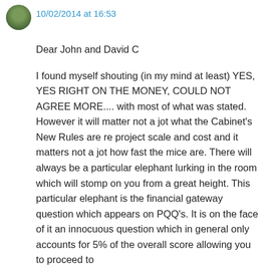[Figure (photo): Small circular avatar photo showing a person outdoors, top-left corner]
10/02/2014 at 16:53
Dear John and David C
I found myself shouting (in my mind at least) YES, YES RIGHT ON THE MONEY, COULD NOT AGREE MORE.... with most of what was stated. However it will matter not a jot what the Cabinet's New Rules are re project scale and cost and it matters not a jot how fast the mice are. There will always be a particular elephant lurking in the room which will stomp on you from a great height. This particular elephant is the financial gateway question which appears on PQQ's. It is on the face of it an innocuous question which in general only accounts for 5% of the overall score allowing you to proceed to